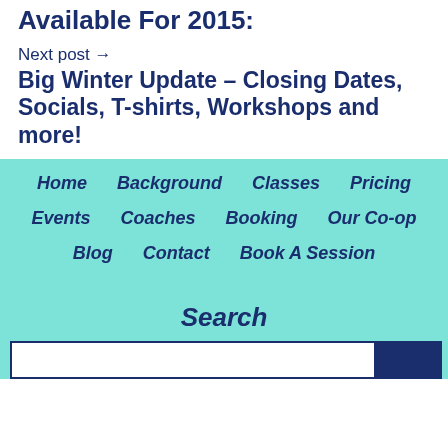Available For 2015:
Next post →
Big Winter Update – Closing Dates, Socials, T-shirts, Workshops and more!
Home
Background
Classes
Pricing
Events
Coaches
Booking
Our Co-op
Blog
Contact
Book A Session
Search